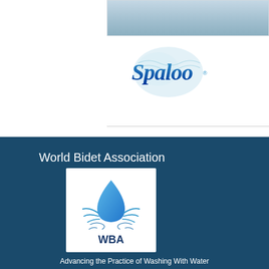[Figure (photo): Partial photo strip at top right, showing a blurred blue-toned image]
[Figure (logo): Spaloo brand logo with blue cursive text and light blue splash/water droplet shape behind it]
[Figure (logo): World Bidet Association (WBA) logo: white box with blue water droplet and splash graphic above the text WBA in dark navy]
World Bidet Association
Advancing the Practice of Washing With Water for Enhanced Personal Hygiene & a Healthier Planet